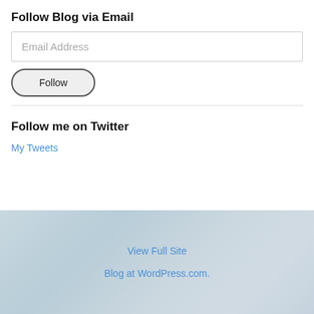Follow Blog via Email
Email Address
Follow
Follow me on Twitter
My Tweets
View Full Site
Blog at WordPress.com.